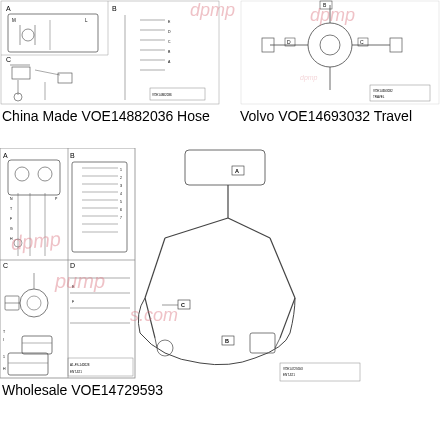[Figure (engineering-diagram): China Made VOE14882036 Hose engineering schematic diagram showing parts layout in multiple panels (A, B, C sections) with component callouts and part numbers]
China Made VOE14882036 Hose
[Figure (engineering-diagram): Volvo VOE14693032 Travel engineering schematic diagram showing hydraulic/mechanical assembly with watermark text]
Volvo VOE14693032 Travel
[Figure (engineering-diagram): Wholesale VOE14729593 engineering schematic diagram showing four-panel layout (A, B, C sections) with connected hydraulic component routing diagram and part callouts]
Wholesale VOE14729593